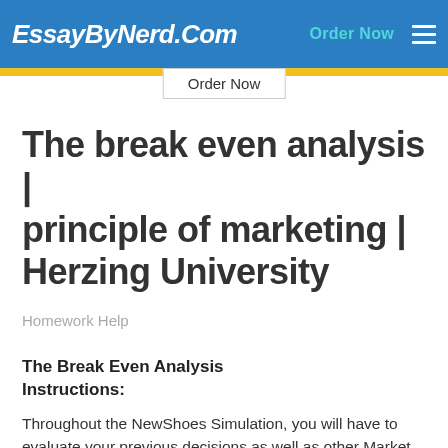EssayByNerd.Com  Order Now
The break even analysis | principle of marketing | Herzing University
Homework Help
The Break Even Analysis
Instructions:
Throughout the NewShoes Simulation, you will have to evaluate your previous decisions as well as other Market data and